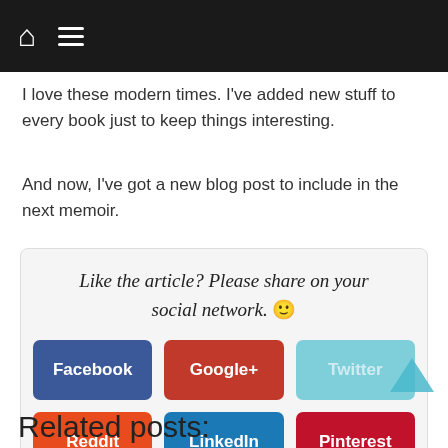Navigation bar with home icon and menu icon
I love these modern times. I’ve added new stuff to every book just to keep things interesting.
And now, I’ve got a new blog post to include in the next memoir.
[Figure (infographic): Social share box with title 'Like the article? Please share on your social network. 🙂' and buttons: Facebook, Google+, Twitter, Reddit, LinkedIn, Pinterest]
Related posts: